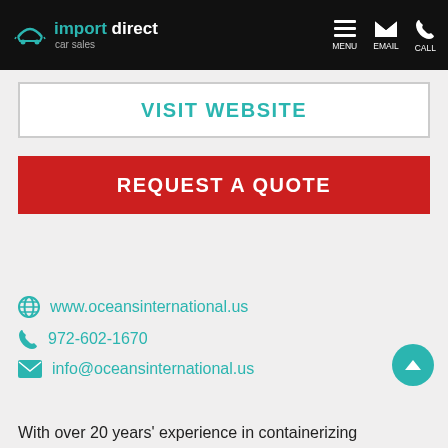import direct car sales — MENU EMAIL CALL
VISIT WEBSITE
REQUEST A QUOTE
www.oceansinternational.us
972-602-1670
info@oceansinternational.us
With over 20 years' experience in containerizing